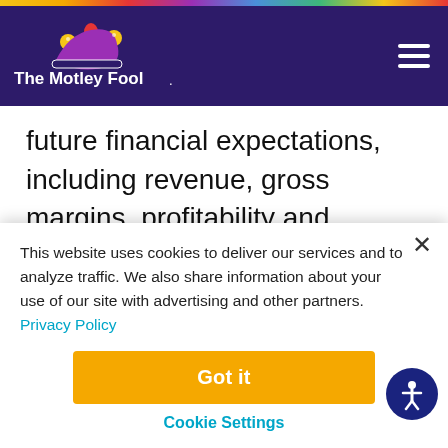The Motley Fool
future financial expectations, including revenue, gross margins, profitability and operating expenses, are based upon our current estimates and various assumptions. These statements involve material risks and uncertainties that could cause actual results or events to be materially
This website uses cookies to deliver our services and to analyze traffic. We also share information about your use of our site with advertising and other partners. Privacy Policy
Got it
Cookie Settings